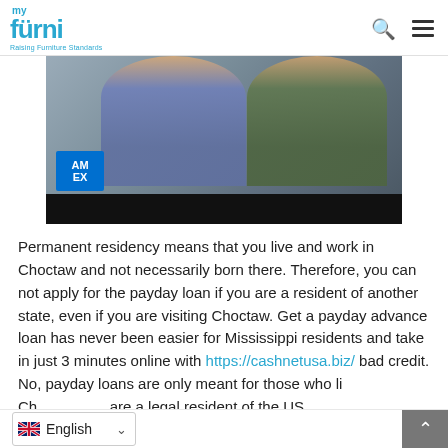my furni — Raising Furniture Standards
[Figure (photo): Screenshot of a video featuring two people (a woman in a blue top and a man in a green shirt) sitting together indoors, with an American Express logo overlay in the lower left. A dark bar appears at the bottom of the video frame.]
Permanent residency means that you live and work in Choctaw and not necessarily born there. Therefore, you can not apply for the payday loan if you are a resident of another state, even if you are visiting Choctaw. Get a payday advance loan has never been easier for Mississippi residents and take in just 3 minutes online with https://cashnetusa.biz/ bad credit. No, payday loans are only meant for those who live in Choctaw and are a legal resident of the USA,